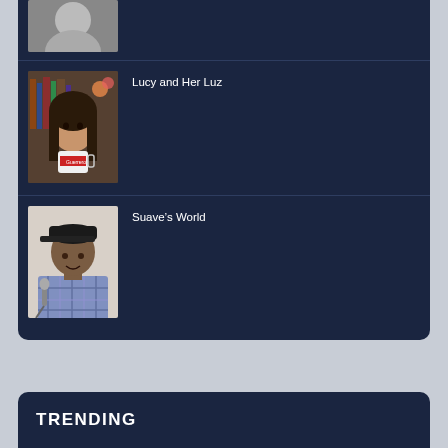[Figure (photo): Partial view of a person's face in grayscale at the top of the page]
[Figure (photo): Woman holding a Guerrero mug, sitting in front of bookshelf]
Lucy and Her Luz
[Figure (photo): Man in baseball cap and plaid shirt speaking at a microphone]
Suave’s World
TRENDING